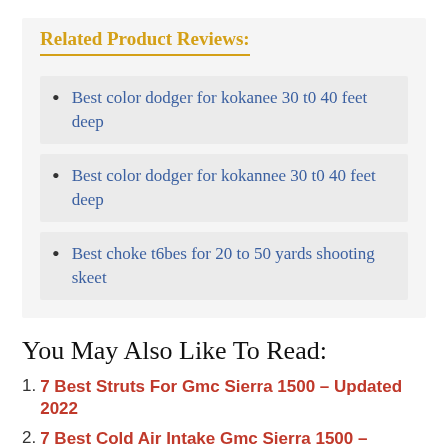Related Product Reviews:
Best color dodger for kokanee 30 t0 40 feet deep
Best color dodger for kokannee 30 t0 40 feet deep
Best choke t6bes for 20 to 50 yards shooting skeet
You May Also Like To Read:
7 Best Struts For Gmc Sierra 1500 – Updated 2022
7 Best Cold Air Intake Gmc Sierra 1500 – Updated 2022
Best Choke For Sporting Clays Gmc Sierra...